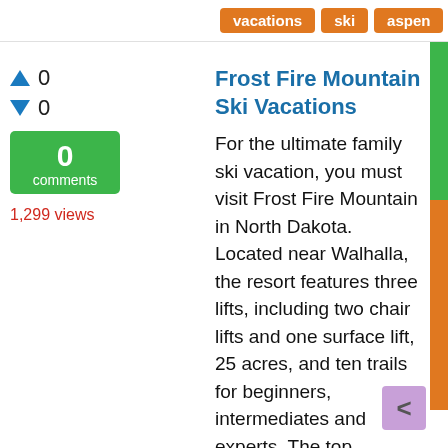vacations
ski
aspen
Frost Fire Mountain Ski Vacations
For the ultimate family ski vacation, you must visit Frost Fire Mountain in North Dakota. Located near Walhalla, the resort features three lifts, including two chair lifts and one surface lift, 25 acres, and ten trails for beginners, intermediates and experts. The top elevation is 1346 feet, with a vertical drop of 345 feet ... the slopes. There are many historical sites to see in
0
0
0 comments
1,299 views